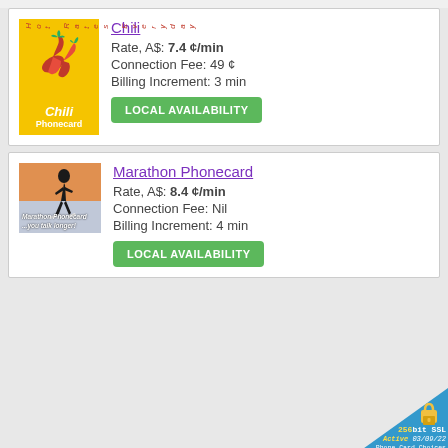[Figure (illustration): Chili Phonecard product image: yellow background with red chili peppers graphic, text 'Hot Rates Everyday' on side, 'Chili Phonecard' label]
Chili
Rate, A$: 7.4 ¢/min
Connection Fee: 49 ¢
Billing Increment: 3 min
LOCAL AVAILABILITY
[Figure (illustration): Marathon Phonecard image: runner silhouette against orange/blue background, text 'Marathon Phonecard ...you talk longer!']
Marathon Phonecard
Rate, A$: 8.4 ¢/min
Connection Fee: Nil
Billing Increment: 4 min
LOCAL AVAILABILITY
[Figure (logo): 256bit SSL Active 03/09/22 Phone Card Choices security badge in blue triangle corner]